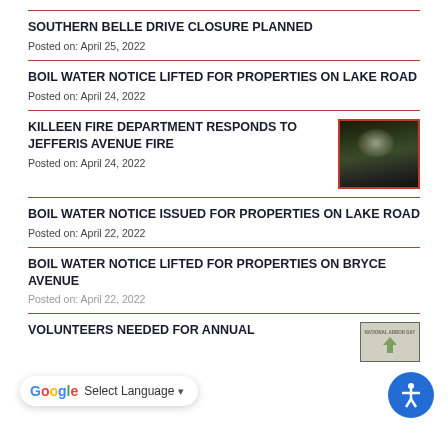SOUTHERN BELLE DRIVE CLOSURE PLANNED
Posted on: April 25, 2022
BOIL WATER NOTICE LIFTED FOR PROPERTIES ON LAKE ROAD
Posted on: April 24, 2022
KILLEEN FIRE DEPARTMENT RESPONDS TO JEFFERIS AVENUE FIRE
Posted on: April 24, 2022
[Figure (photo): Nighttime photo of fire scene on Jefferis Avenue with emergency responders visible]
BOIL WATER NOTICE ISSUED FOR PROPERTIES ON LAKE ROAD
Posted on: April 22, 2022
BOIL WATER NOTICE LIFTED FOR PROPERTIES ON BRYCE AVENUE
Posted on: April 22, 2022
VOLUNTEERS NEEDED FOR ANNUAL
[Figure (photo): Small thumbnail image - National Arbor Day]